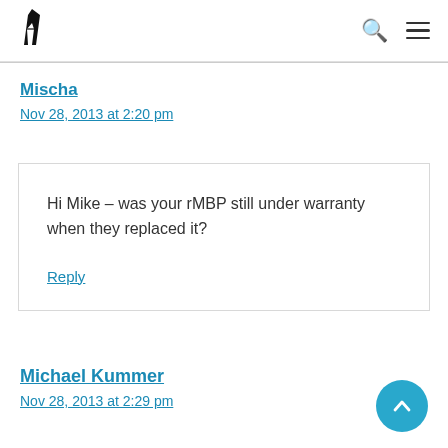Logo | Search | Menu
Mischa
Nov 28, 2013 at 2:20 pm
Hi Mike – was your rMBP still under warranty when they replaced it?
Reply
Michael Kummer
Nov 28, 2013 at 2:29 pm